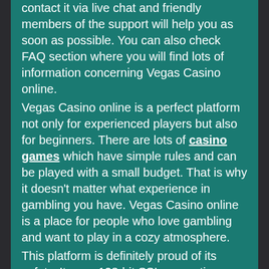contact it via live chat and friendly members of the support will help you as soon as possible. You can also check FAQ section where you will find lots of information concerning Vegas Casino online.
Vegas Casino online is a perfect platform not only for experienced players but also for beginners. There are lots of casino games which have simple rules and can be played with a small budget. That is why it doesn't matter what experience in gambling you have. Vegas Casino online is a place for people who love gambling and want to play in a cozy atmosphere.
This platform is definitely proud of its safety. It uses 128-bit SSL encryption so you shouldn't worry about personal information that you give. The games are fair so you can relax and have a great time not worrying about anything,
There are different methods of deposit and withdrawal. What is more, this casino is bitcoin friendly so if you prefer cryptocurrency it can be a good choice.
The system of promotions and bonuses is